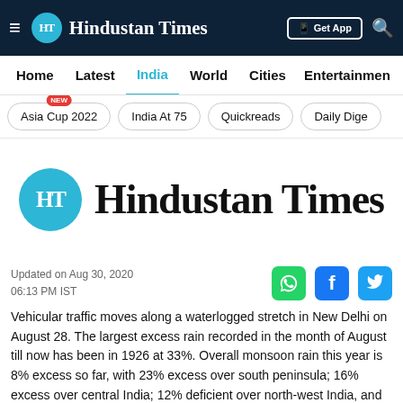HT Hindustan Times | Get App
Home  Latest  India  World  Cities  Entertainment
Asia Cup 2022 NEW  India At 75  Quickreads  Daily Dige
[Figure (logo): Hindustan Times logo — HT circular teal badge and blackletter 'Hindustan Times' text]
Updated on Aug 30, 2020
06:13 PM IST
Vehicular traffic moves along a waterlogged stretch in New Delhi on August 28. The largest excess rain recorded in the month of August till now has been in 1926 at 33%. Overall monsoon rain this year is 8% excess so far, with 23% excess over south peninsula; 16% excess over central India; 12% deficient over north-west India, and 4% excess over east and north-east India. The monsoon runs from